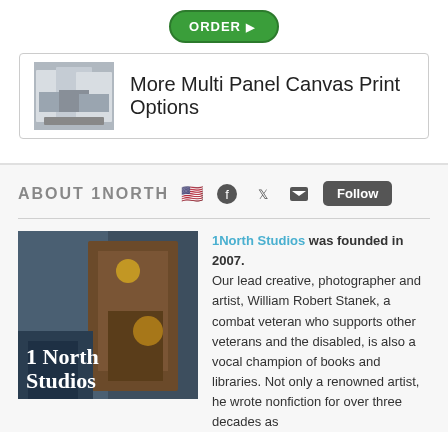[Figure (other): Green ORDER button with arrow]
[Figure (other): Banner box with multi-panel canvas image thumbnail and text 'More Multi Panel Canvas Print Options']
ABOUT 1NORTH
[Figure (photo): 1North Studios photo with text overlay '1North Studios']
1North Studios was founded in 2007. Our lead creative, photographer and artist, William Robert Stanek, a combat veteran who supports other veterans and the disabled, is also a vocal champion of books and libraries. Not only a renowned artist, he wrote nonfiction for over three decades as